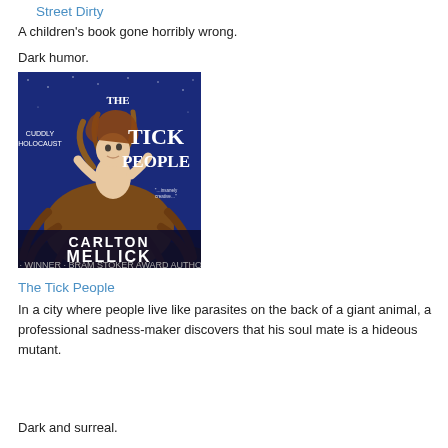Street Dirty
A children's book gone horribly wrong.
Dark humor.
[Figure (photo): Book cover of 'The Tick People' by Carlton Mellick III. Shows a cherub-like figure with insect/tick body parts against a blue starry background. Text reads 'Cuddly Holocaust' and 'Carlton Mellick III'.]
The Tick People
In a city where people live like parasites on the back of a giant animal, a professional sadness-maker discovers that his soul mate is a hideous mutant.
Dark and surreal.